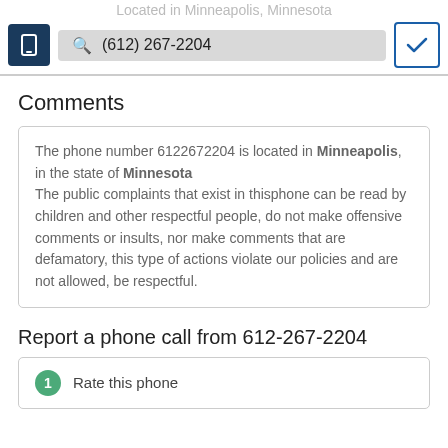Located in Minneapolis, Minnesota
(612) 267-2204
Comments
The phone number 6122672204 is located in Minneapolis, in the state of Minnesota
The public complaints that exist in thisphone can be read by children and other respectful people, do not make offensive comments or insults, nor make comments that are defamatory, this type of actions violate our policies and are not allowed, be respectful.
Report a phone call from 612-267-2204
1 Rate this phone